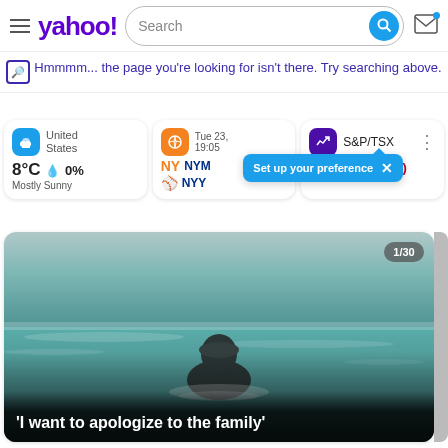yahoo! [Search bar] [Mail icon]
Hmmmm... the page you're looking for isn't there. Try searching above.
[Figure (screenshot): Weather widget showing United States, 8°C, 0% precipitation, Mostly Sunny]
[Figure (screenshot): Sports widget showing Tue 23, 19:05, NYM vs NYY baseball game]
[Figure (screenshot): Finance widget showing S&P/TSX -136.48 (-0.68%) with 'Set up your preference' tooltip]
[Figure (photo): Person wading in ocean/sea water, viewed from behind, 1/30 badge]
'I want to apologize to the family'